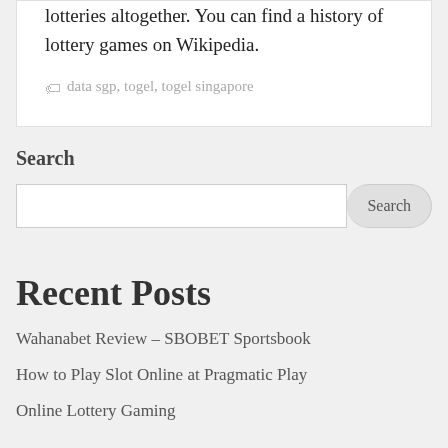lotteries altogether. You can find a history of lottery games on Wikipedia.
data sgp, togel, togel singapore
Search
Recent Posts
Wahanabet Review – SBOBET Sportsbook
How to Play Slot Online at Pragmatic Play
Online Lottery Gaming